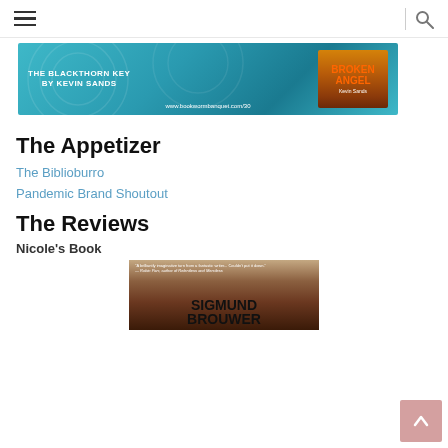Navigation menu and search
[Figure (illustration): Banner ad for The Blackthorn Key by Kevin Sands and Broken Angel book, teal background with circular patterns, URL www.bookwormbanquet.com/30]
The Appetizer
The Biblioburro
Pandemic Brand Shoutout
The Reviews
Nicole's Book
[Figure (photo): Book cover showing author name SIGMUND BROUWER with a quote from Robin Parr at the top, warm brown/orange tones]